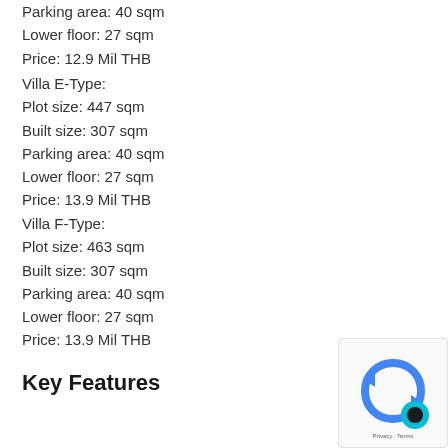Parking area: 40 sqm
Lower floor: 27 sqm
Price: 12.9 Mil THB
Villa E-Type:
Plot size: 447 sqm
Built size: 307 sqm
Parking area: 40 sqm
Lower floor: 27 sqm
Price: 13.9 Mil THB
Villa F-Type:
Plot size: 463 sqm
Built size: 307 sqm
Parking area: 40 sqm
Lower floor: 27 sqm
Price: 13.9 Mil THB
Key Features
[Figure (other): reCAPTCHA badge with blue arrows logo and teal circle icon, showing 'Privacy - Terms' text]